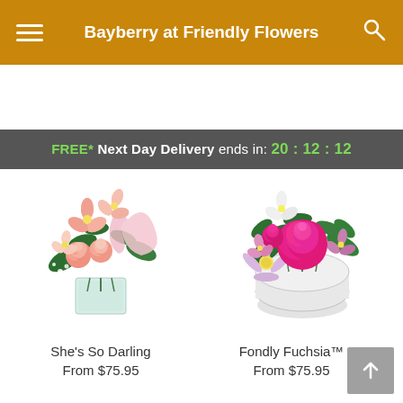Bayberry at Friendly Flowers
FREE* Next Day Delivery ends in: 20:12:12
[Figure (photo): Pink and peach floral arrangement with alstroemeria, carnations, and baby's breath in a clear glass cube vase with a pink ribbon]
She's So Darling
From $75.95
[Figure (photo): Pink and fuchsia floral arrangement with roses, daisies, and alstroemeria in a white round glass vase]
Fondly Fuchsia™
From $75.95